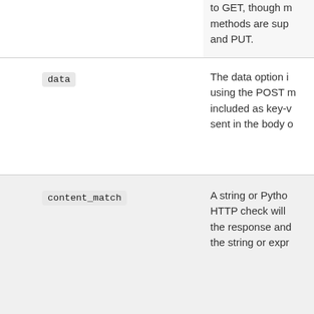| Parameter | Description |
| --- | --- |
|  | to GET, though methods are sup and PUT. |
| data | The data option i using the POST m included as key-v sent in the body o |
| content_match | A string or Pytho HTTP check will the response and the string or expr |
| reverse_content_match | When true, revers content_match check will report |